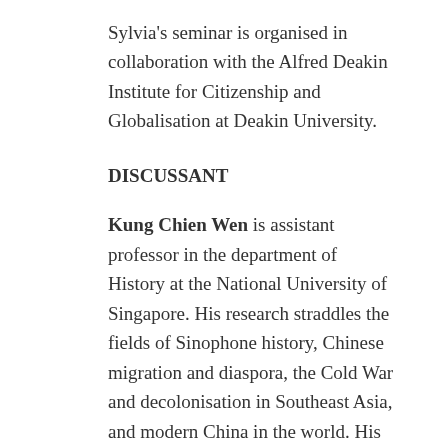Sylvia's seminar is organised in collaboration with the Alfred Deakin Institute for Citizenship and Globalisation at Deakin University.
DISCUSSANT
Kung Chien Wen is assistant professor in the department of History at the National University of Singapore. His research straddles the fields of Sinophone history, Chinese migration and diaspora, the Cold War and decolonisation in Southeast Asia, and modern China in the world. His first book, Diasporic Cold Warriors (Columbia University Press, 2022), explains how the Chinese in the Philippines became Southeast